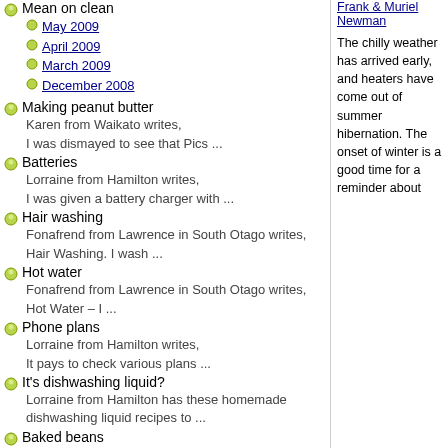Mean on clean
May 2009
April 2009
March 2009
December 2008
Making peanut butter
Karen from Waikato writes,
I was dismayed to see that Pics ...
Batteries
Lorraine from Hamilton writes,
I was given a battery charger with ...
Hair washing
Fonafrend from Lawrence in South Otago writes,
Hair Washing. I wash ...
Hot water
Fonafrend from Lawrence in South Otago writes,
Hot Water – I ...
Phone plans
Lorraine from Hamilton writes,
It pays to check various plans ...
It's dishwashing liquid?
Lorraine from Hamilton has these homemade dishwashing liquid recipes to ...
Baked beans
Kool.kats from Dunedin writes,
When I open a large tin of ...
Wholemeal Bread
Frank & Muriel Newman
The chilly weather has arrived early, and heaters have come out of summer hibernation. The onset of winter is a good time for a reminder about